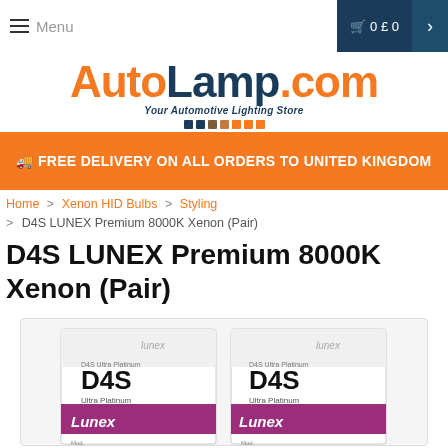[Figure (logo): AutoLamp.com logo with tagline 'Your Automotive Lighting Store' and colored dots]
≡ Menu
🛒 0 £ 0  >
🚚 FREE DELIVERY ON ALL ORDERS TO UNITED KINGDOM
Home > Xenon HID Bulbs > Styling
> D4S LUNEX Premium 8000K Xenon (Pair)
D4S LUNEX Premium 8000K Xenon (Pair)
[Figure (photo): Two white and purple Lunex D4S Ultra Platinum xenon bulb boxes side by side]